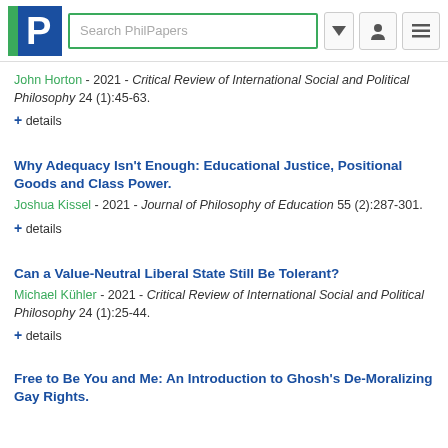[Figure (logo): PhilPapers logo with blue P and green bar]
John Horton - 2021 - Critical Review of International Social and Political Philosophy 24 (1):45-63.
+ details
Why Adequacy Isn't Enough: Educational Justice, Positional Goods and Class Power.
Joshua Kissel - 2021 - Journal of Philosophy of Education 55 (2):287-301.
+ details
Can a Value-Neutral Liberal State Still Be Tolerant?
Michael Kühler - 2021 - Critical Review of International Social and Political Philosophy 24 (1):25-44.
+ details
Free to Be You and Me: An Introduction to Ghosh's De-Moralizing Gay Rights.